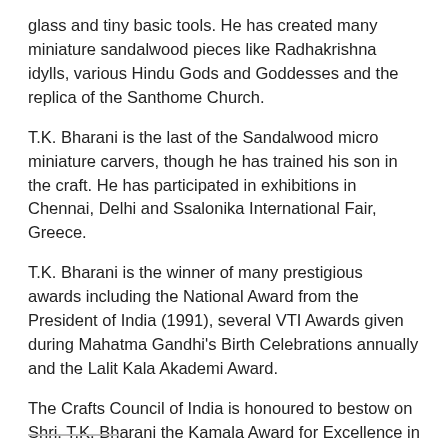glass and tiny basic tools. He has created many miniature sandalwood pieces like Radhakrishna idylls, various Hindu Gods and Goddesses and the replica of the Santhome Church.
T.K. Bharani is the last of the Sandalwood micro miniature carvers, though he has trained his son in the craft. He has participated in exhibitions in Chennai, Delhi and Ssalonika International Fair, Greece.
T.K. Bharani is the winner of many prestigious awards including the National Award from the President of India (1991), several VTI Awards given during Mahatma Gandhi's Birth Celebrations annually and the Lalit Kala Akademi Award.
The Crafts Council of India is honoured to bestow on Shri. T.K. Bharani the Kamala Award for Excellence in Craftsmanship for the year 2018.